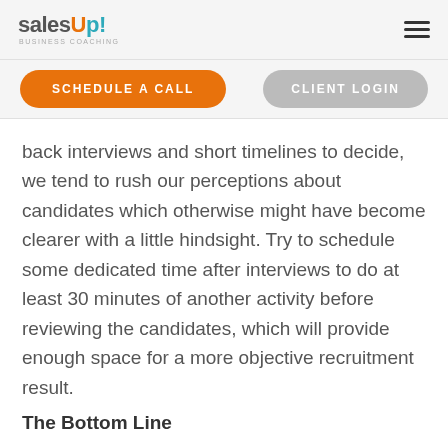salesUp! BUSINESS COACHING
SCHEDULE A CALL
CLIENT LOGIN
back interviews and short timelines to decide, we tend to rush our perceptions about candidates which otherwise might have become clearer with a little hindsight. Try to schedule some dedicated time after interviews to do at least 30 minutes of another activity before reviewing the candidates, which will provide enough space for a more objective recruitment result.
The Bottom Line
While these aren't huge changes to implement, refining